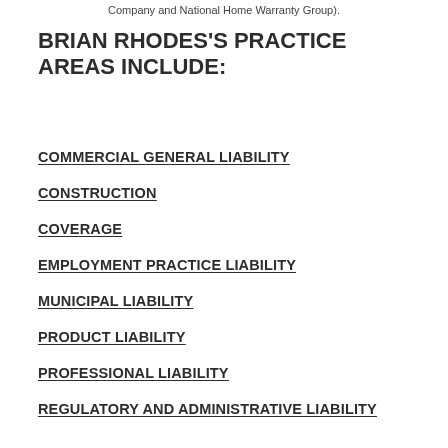Company and National Home Warranty Group).
BRIAN RHODES'S PRACTICE AREAS INCLUDE:
COMMERCIAL GENERAL LIABILITY
CONSTRUCTION
COVERAGE
EMPLOYMENT PRACTICE LIABILITY
MUNICIPAL LIABILITY
PRODUCT LIABILITY
PROFESSIONAL LIABILITY
REGULATORY AND ADMINISTRATIVE LIABILITY